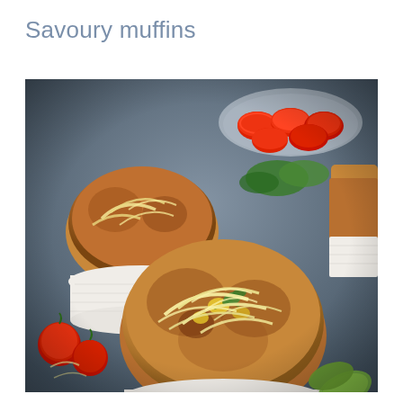Savoury muffins
[Figure (photo): Close-up photograph of freshly baked savoury muffins topped with shredded cheese and basil leaves, in white paper muffin cups on a baking tray, with cherry tomatoes in a glass bowl and cucumber slices in the background]